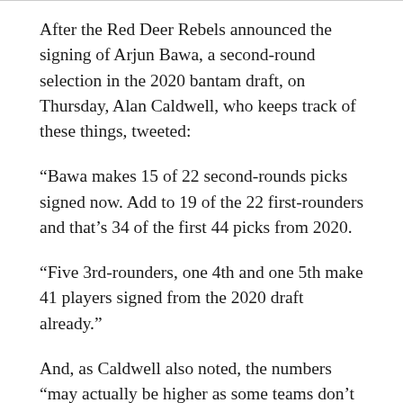After the Red Deer Rebels announced the signing of Arjun Bawa, a second-round selection in the 2020 bantam draft, on Thursday, Alan Caldwell, who keeps track of these things, tweeted:
“Bawa makes 15 of 22 second-rounds picks signed now. Add to 19 of the 22 first-rounders and that’s 34 of the first 44 picks from 2020.
“Five 3rd-rounders, one 4th and one 5th make 41 players signed from the 2020 draft already.”
And, as Caldwell also noted, the numbers “may actually be higher as some teams don’t